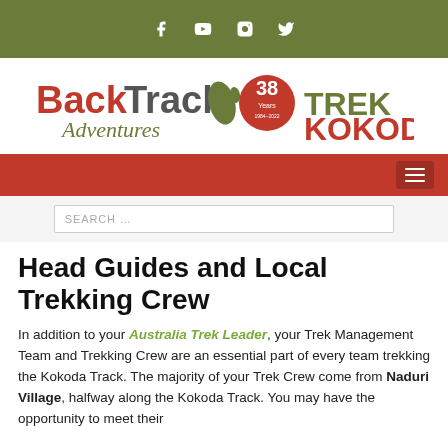[Figure (logo): Social media icons bar (Facebook, YouTube, Instagram, Twitter) on olive green background]
[Figure (logo): BackTrack Adventures Trek Kokoda logo with 38 Years badge]
[Figure (other): Red navigation bar with hamburger menu icon on right]
SEARCH …
Head Guides and Local Trekking Crew
In addition to your Australia Trek Leader, your Trek Management Team and Trekking Crew are an essential part of every team trekking the Kokoda Track. The majority of your Trek Crew come from Naduri Village, halfway along the Kokoda Track. You may have the opportunity to meet their